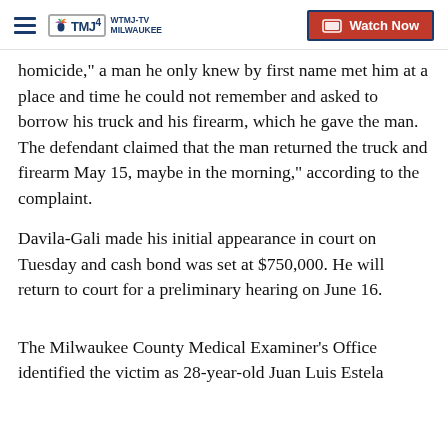WTMJ-TV MILWAUKEE | Watch Now
homicide," a man he only knew by first name met him at a place and time he could not remember and asked to borrow his truck and his firearm, which he gave the man. The defendant claimed that the man returned the truck and firearm May 15, maybe in the morning," according to the complaint.
Davila-Gali made his initial appearance in court on Tuesday and cash bond was set at $750,000. He will return to court for a preliminary hearing on June 16.
The Milwaukee County Medical Examiner's Office identified the victim as 28-year-old Juan Luis Estela